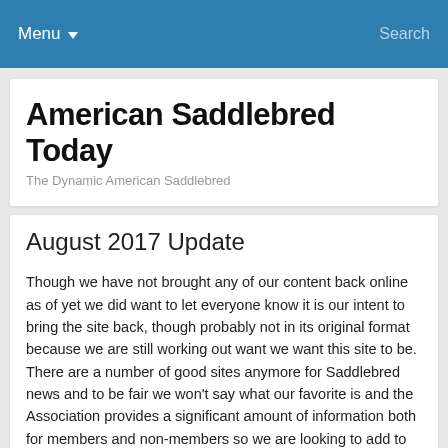Menu  Search
American Saddlebred Today
The Dynamic American Saddlebred
August 2017 Update
Though we have not brought any of our content back online as of yet we did want to let everyone know it is our intent to bring the site back, though probably not in its original format because we are still working out want we want this site to be.  There are a number of good sites anymore for Saddlebred news and to be fair we won't say what our favorite is and the Association provides a significant amount of information both for members and non-members so we are looking to add to what is out there to improve people's access to information about our breed.
As a Kentuckian I also feel a deep place in my heart for what this breed represents of our Commonwealth, this breed was developed out of a